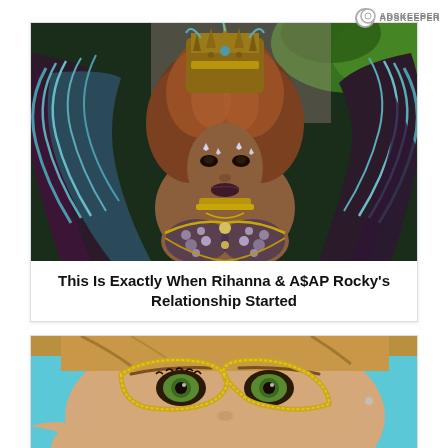[Figure (photo): Rihanna dressed in elaborate carnival costume with large blue and black feathered wings, jeweled headdress, and ornate bejeweled bra top]
This Is Exactly When Rihanna & A$AP Rocky's Relationship Started
[Figure (photo): Close-up of a woman wearing decorative gold glitter cat-eye glasses against a blue background, with green eyes visible]
ADSKEEPER